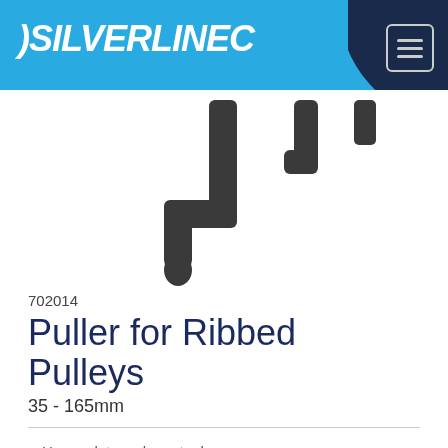SILVERLINE
[Figure (photo): Close-up photo of a metal puller hook tool for ribbed pulleys, showing a curved dark metal arm/hook component on a white background]
702014
Puller for Ribbed Pulleys
35 - 165mm
Heavy-duty carbon steel
Removes ribbed crankshaft, alternator & auxiliary pulleys
Precision grooves grip pulley without damage